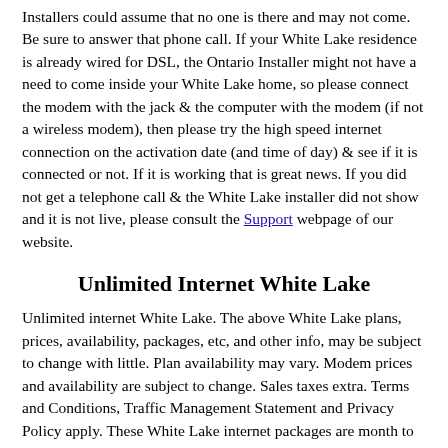Installers could assume that no one is there and may not come. Be sure to answer that phone call. If your White Lake residence is already wired for DSL, the Ontario Installer might not have a need to come inside your White Lake home, so please connect the modem with the jack & the computer with the modem (if not a wireless modem), then please try the high speed internet connection on the activation date (and time of day) & see if it is connected or not. If it is working that is great news. If you did not get a telephone call & the White Lake installer did not show and it is not live, please consult the Support webpage of our website.
Unlimited Internet White Lake
Unlimited internet White Lake. The above White Lake plans, prices, availability, packages, etc, and other info, may be subject to change with little. Plan availability may vary. Modem prices and availability are subject to change. Sales taxes extra. Terms and Conditions, Traffic Management Statement and Privacy Policy apply. These White Lake internet packages are month to month and pay in advance service. You will be invoiced using e-mail each month. Invoicing starts from the date of order not the date of installation/activation. WRS Web Solutions Inc. is a federally incorporated Canadian company, residing in the Province of Ontario. It is a separate company, completely independent from the phone company & Rogers, Cogeco and Shaw. Whereas for...